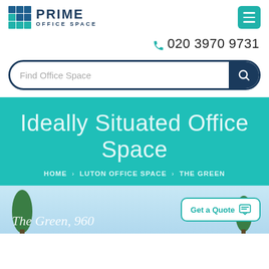[Figure (logo): Prime Office Space logo with grid icon and text]
020 3970 9731
Find Office Space
Ideally Situated Office Space
HOME > LUTON OFFICE SPACE > THE GREEN
[Figure (photo): Photo of The Green, 960 with trees and sky background, with Get a Quote button overlay]